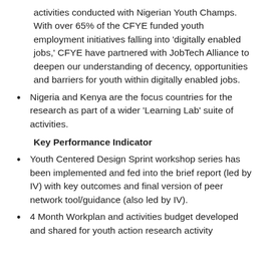activities conducted with Nigerian Youth Champs. With over 65% of the CFYE funded youth employment initiatives falling into 'digitally enabled jobs,' CFYE have partnered with JobTech Alliance to deepen our understanding of decency, opportunities and barriers for youth within digitally enabled jobs.
Nigeria and Kenya are the focus countries for the research as part of a wider 'Learning Lab' suite of activities.
Key Performance Indicator
Youth Centered Design Sprint workshop series has been implemented and fed into the brief report (led by IV) with key outcomes and final version of peer network tool/guidance (also led by IV).
4 Month Workplan and activities budget developed and shared for youth action research activity